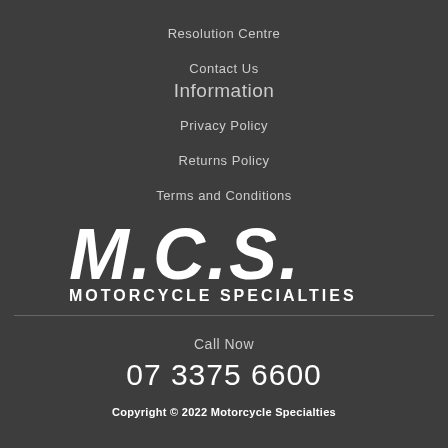Resolution Centre
Contact Us
Information
Privacy Policy
Returns Policy
Terms and Conditions
[Figure (logo): M.C.S. Motorcycle Specialties logo — large bold white italic letters M.C.S. above the text MOTORCYCLE SPECIALTIES in white on dark background]
Call Now
07 3375 6600
Copyright © 2022 Motorcycle Specialties